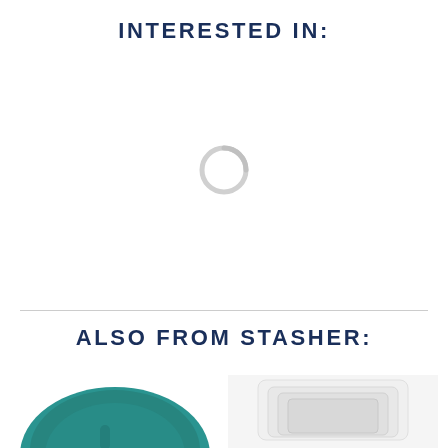INTERESTED IN:
[Figure (other): Loading spinner / circular loading indicator, light gray]
ALSO FROM STASHER:
[Figure (photo): Teal/green silicone Stasher bag product photo, partially cropped at bottom]
[Figure (photo): White/clear silicone Stasher bag set product photo, partially cropped at bottom]